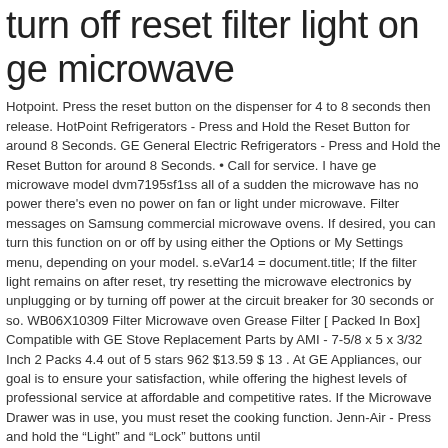turn off reset filter light on ge microwave
Hotpoint. Press the reset button on the dispenser for 4 to 8 seconds then release. HotPoint Refrigerators - Press and Hold the Reset Button for around 8 Seconds. GE General Electric Refrigerators - Press and Hold the Reset Button for around 8 Seconds. • Call for service. I have ge microwave model dvm7195sf1ss all of a sudden the microwave has no power there's even no power on fan or light under microwave. Filter messages on Samsung commercial microwave ovens. If desired, you can turn this function on or off by using either the Options or My Settings menu, depending on your model. s.eVar14 = document.title; If the filter light remains on after reset, try resetting the microwave electronics by unplugging or by turning off power at the circuit breaker for 30 seconds or so. WB06X10309 Filter Microwave oven Grease Filter [ Packed In Box] Compatible with GE Stove Replacement Parts by AMI - 7-5/8 x 5 x 3/32 Inch 2 Packs 4.4 out of 5 stars 962 $13.59 $ 13 . At GE Appliances, our goal is to ensure your satisfaction, while offering the highest levels of professional service at affordable and competitive rates. If the Microwave Drawer was in use, you must reset the cooking function. Jenn-Air - Press and hold the "Light" and "Lock" buttons until